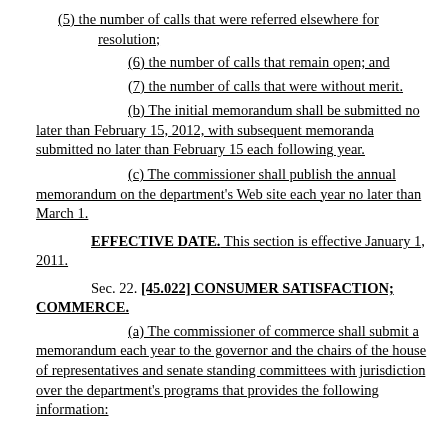(5) the number of calls that were referred elsewhere for resolution;
(6) the number of calls that remain open; and
(7) the number of calls that were without merit.
(b) The initial memorandum shall be submitted no later than February 15, 2012, with subsequent memoranda submitted no later than February 15 each following year.
(c) The commissioner shall publish the annual memorandum on the department's Web site each year no later than March 1.
EFFECTIVE DATE. This section is effective January 1, 2011.
Sec. 22. [45.022] CONSUMER SATISFACTION; COMMERCE.
(a) The commissioner of commerce shall submit a memorandum each year to the governor and the chairs of the house of representatives and senate standing committees with jurisdiction over the department's programs that provides the following information: